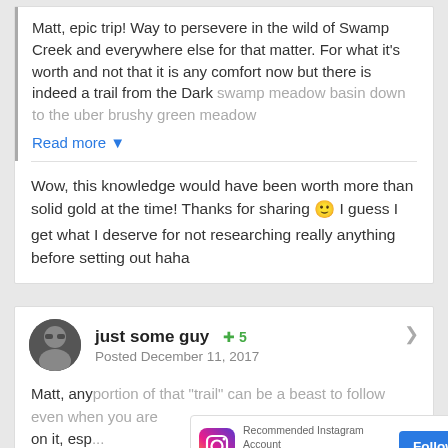Matt, epic trip! Way to persevere in the wild of Swamp Creek and everywhere else for that matter. For what it's worth and not that it is any comfort now but there is indeed a trail from the Dark swamp meadow basin down to the uber brushy green meadow
Read more ▾
Wow, this knowledge would have been worth more than solid gold at the time! Thanks for sharing 🙂 I guess I get what I deserve for not researching really anything before setting out haha
just some guy
Posted December 11, 2017
Matt, any [portion of that trail can be a beast to follow even when you are on it, esp... the intrep... is on the... trees into... far, head... side of th...]
[Figure (screenshot): Instagram promotional ad overlay for OutdoorGearAlerts.com with Follow button, product images of outdoor gear, and Powered by MiloTree footer with X CLOSE button]